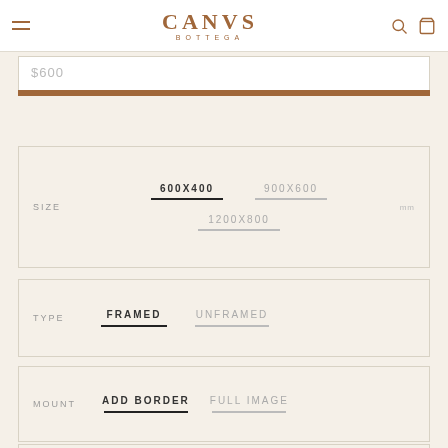CANVS BOTTEGA
$600
SIZE  600X400  900X600  1200X800  mm
TYPE  FRAMED  UNFRAMED
MOUNT  ADD BORDER  FULL IMAGE
QUANTITY  -  1  +  Only 0 left